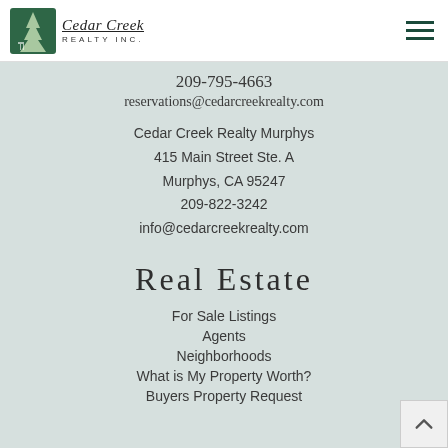Cedar Creek Realty Inc.
209-795-4663
reservations@cedarcreekrealty.com
Cedar Creek Realty Murphys
415 Main Street Ste. A
Murphys, CA 95247
209-822-3242
info@cedarcreekrealty.com
Real Estate
For Sale Listings
Agents
Neighborhoods
What is My Property Worth?
Buyers Property Request